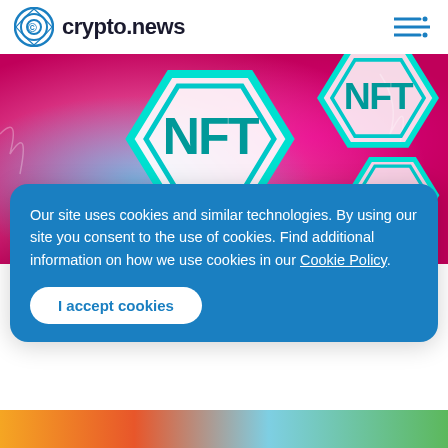crypto.news
[Figure (illustration): NFT hexagonal token logos in cyan/teal on a pink/magenta glowing background, multiple NFT badge shapes overlapping]
NFT
NFT D... It's a...
August 2...
Our site uses cookies and similar technologies. By using our site you consent to the use of cookies. Find additional information on how we use cookies in our Cookie Policy.
I accept cookies
[Figure (photo): Partial thumbnail of another article at the bottom of the page]